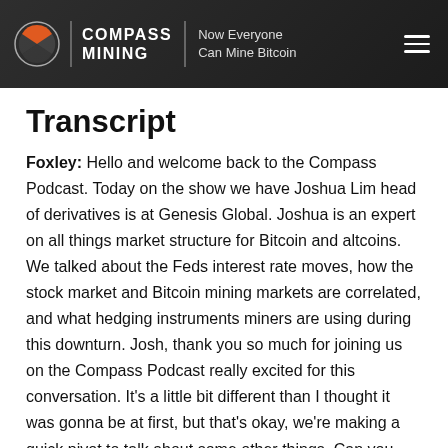COMPASS MINING | Now Everyone Can Mine Bitcoin
Transcript
Foxley: Hello and welcome back to the Compass Podcast. Today on the show we have Joshua Lim head of derivatives is at Genesis Global. Joshua is an expert on all things market structure for Bitcoin and altcoins. We talked about the Feds interest rate moves, how the stock market and Bitcoin mining markets are correlated, and what hedging instruments miners are using during this downturn. Josh, thank you so much for joining us on the Compass Podcast really excited for this conversation. It's a little bit different than I thought it was gonna be at first, but that's okay, we're making a quick pivot to talk about some other things. Can you just start off the conversation, your background Bitcoin